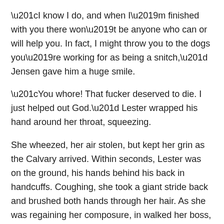“I know I do, and when I’m finished with you there won’t be anyone who can or will help you. In fact, I might throw you to the dogs you’re working for as being a snitch,” Jensen gave him a huge smile.
“You whore! That fucker deserved to die. I just helped out God.” Lester wrapped his hand around her throat, squeezing.
She wheezed, her air stolen, but kept her grin as the Calvary arrived. Within seconds, Lester was on the ground, his hands behind his back in handcuffs. Coughing, she took a giant stride back and brushed both hands through her hair. As she was regaining her composure, in walked her boss, the new Captain everyone was raving about.
“Agent…